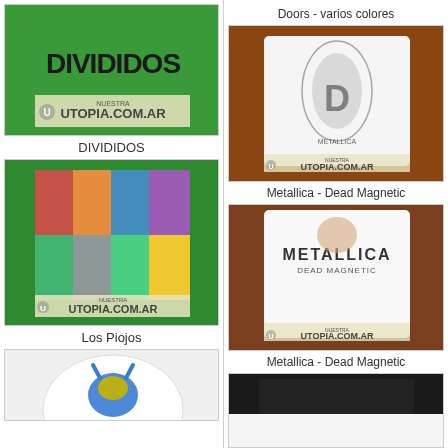[Figure (photo): Green t-shirt with DIVIDIDOS text logo and nuestra utopia.com.ar watermark]
DIVIDIDOS
[Figure (photo): Colorful tie-dye t-shirt with Los Piojos graphics on green background, nuestra utopia.com.ar watermark]
Los Piojos
[Figure (photo): Partial view of white t-shirt with blue and yellow monster logo]
Doors - varios colores
[Figure (photo): Person wearing white t-shirt from back showing large hair graphic with Metallica branding, nuestra utopia.com.ar watermark]
Metallica - Dead Magnetic
[Figure (photo): Person wearing white t-shirt from back showing METALLICA Dead Magnetic text, nuestra utopia.com.ar watermark]
Metallica - Dead Magnetic
[Figure (photo): Partial view of dark t-shirt at bottom right]